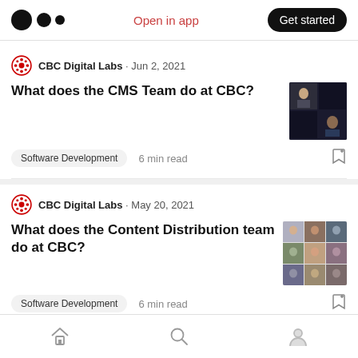Medium logo | Open in app | Get started
CBC Digital Labs · Jun 2, 2021
What does the CMS Team do at CBC?
Software Development · 6 min read
[Figure (photo): Video call screenshot with multiple participants]
CBC Digital Labs · May 20, 2021
What does the Content Distribution team do at CBC?
Software Development · 6 min read
[Figure (photo): Grid of team member photos]
CBC Digital Labs · Apr 26, 2021
Home | Search | Profile